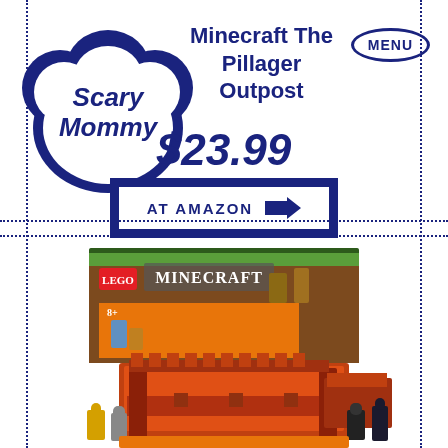Scary Mommy
Minecraft The Pillager Outpost
$23.99
AT AMAZON →
[Figure (photo): LEGO Minecraft product box and assembled set showing a reddish-orange Nether bridge structure with minifigures including Blazes and Enderman]